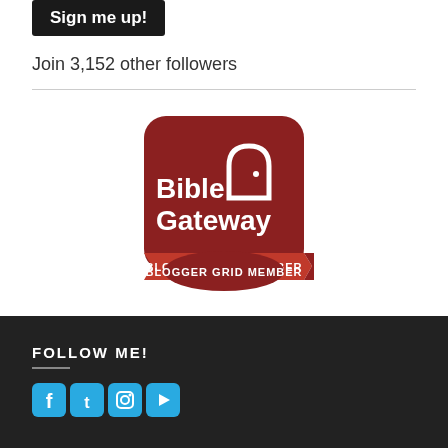[Figure (other): Dark button with text 'Sign me up!']
Join 3,152 other followers
[Figure (logo): Bible Gateway Blogger Grid Member badge - dark red rounded square badge with white arch/door icon and text 'Bible Gateway' with ribbon banner saying 'BLOGGER GRID MEMBER']
FOLLOW ME!
[Figure (other): Four social media icons: Facebook, Twitter, Instagram, YouTube - all in light blue/cyan color]